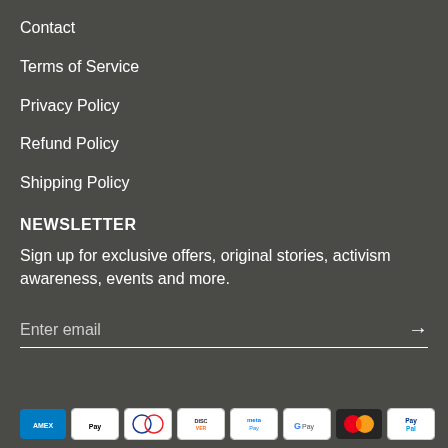Contact
Terms of Service
Privacy Policy
Refund Policy
Shipping Policy
NEWSLETTER
Sign up for exclusive offers, original stories, activism awareness, events and more.
Enter email
[Figure (other): Payment method icons: American Express, Apple Pay, Diners Club, Discover, Meta Pay, Google Pay, Mastercard, PayPal]